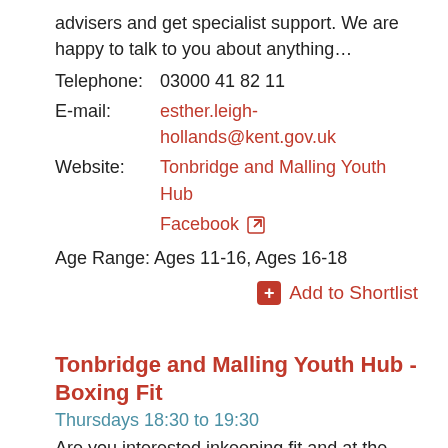advisers and get specialist support. We are happy to talk to you about anything…
Telephone:  03000 41 82 11
E-mail:  esther.leigh-hollands@kent.gov.uk
Website:  Tonbridge and Malling Youth Hub  Facebook
Age Range: Ages 11-16, Ages 16-18
Add to Shortlist
Tonbridge and Malling Youth Hub - Boxing Fit
Thursdays 18:30 to 19:30
Are you interested inkeeping fit and at the same time having fun? Boxing Fit is a partnership programme with olympia Boxing, providing fitness boxing sessions for young people aged 5 to 19 year